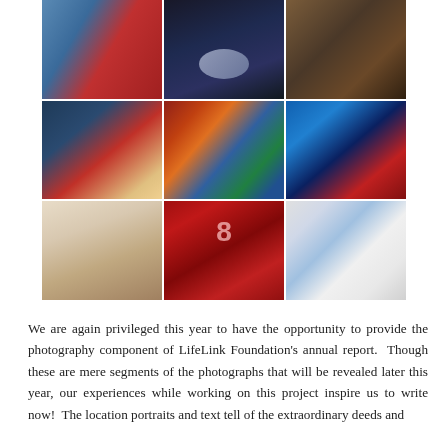[Figure (photo): A 3x3 grid of nine photographs showing various scenes: people on a street, a motorcycle emblem, a person with a knit hat, two people embracing near a mural, a colorful gated area, blue tiles/blocks with a person in red, hands/fabric close-up, a red fire engine with number 8, and pharmacy/medicine shelves with a person's hand.]
We are again privileged this year to have the opportunity to provide the photography component of LifeLink Foundation's annual report.  Though these are mere segments of the photographs that will be revealed later this year, our experiences while working on this project inspire us to write now!  The location portraits and text tell of the extraordinary deeds and